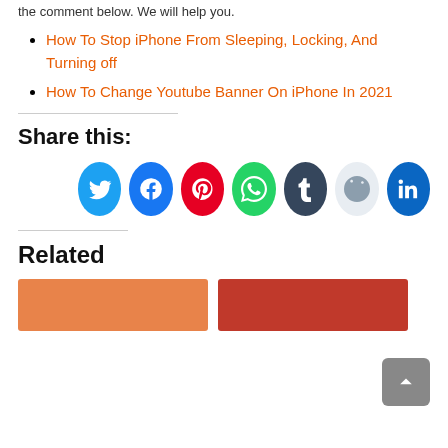the comment below. We will help you.
How To Stop iPhone From Sleeping, Locking, And Turning off
How To Change Youtube Banner On iPhone In 2021
Share this:
[Figure (infographic): Row of 7 social media share icon circles: Twitter (blue), Facebook (blue), Pinterest (red), WhatsApp (green), Tumblr (dark navy), Reddit (light gray), LinkedIn (blue)]
Related
[Figure (photo): Two related article thumbnail images at bottom: one orange-toned, one red-toned]